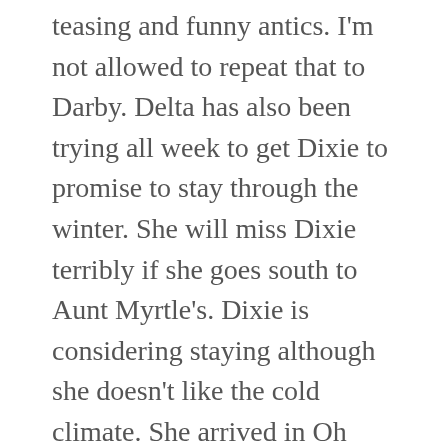teasing and funny antics. I'm not allowed to repeat that to Darby. Delta has also been trying all week to get Dixie to promise to stay through the winter. She will miss Dixie terribly if she goes south to Aunt Myrtle's. Dixie is considering staying although she doesn't like the cold climate. She arrived in Oh Valley this summer when it was still very cold outside. She was not happy about our weather – NOT one little bit. She does, however, like all the friends she's made at The Insect Inn and is developing a crush on Baxter. Dixie is also thinking she'd like to see snow for the first time – from inside the inn where...